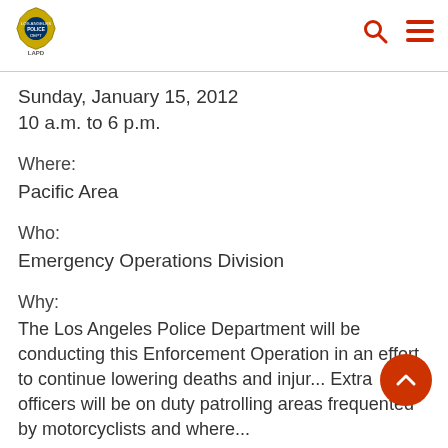LAPD logo with search and menu icons
Sunday, January 15, 2012
10 a.m. to 6 p.m.
Where:
Pacific Area
Who:
Emergency Operations Division
Why:
The Los Angeles Police Department will be conducting this Enforcement Operation in an effort to continue lowering deaths and injur... Extra officers will be on duty patrolling areas frequented by motorcyclists and where...